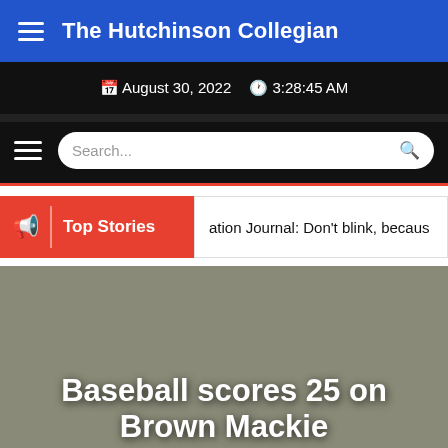The Hutchinson Collegian
August 30, 2022  3:28:45 AM
[Figure (screenshot): Search bar with hamburger menu icon on dark background]
Top Stories  ation Journal: Don't blink, becaus
[Figure (photo): Group of students gathered around a laptop/screen, looking at content together]
Baseball scores 25 on Brown Mackie